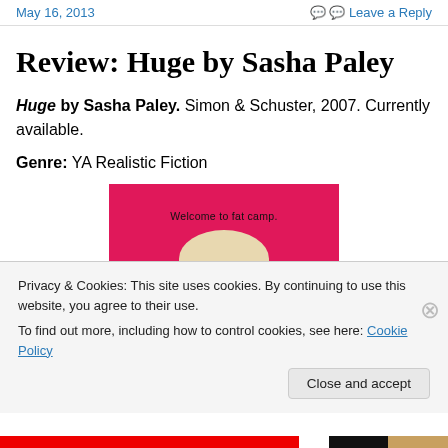May 16, 2013   Leave a Reply
Review: Huge by Sasha Paley
Huge by Sasha Paley. Simon & Schuster, 2007. Currently available.
Genre: YA Realistic Fiction
[Figure (photo): Book cover of 'Huge' by Sasha Paley. Hot pink background with text 'Welcome to fat camp.' and a partial image of a face (forehead/eyes area visible) below a plate/platter graphic.]
Privacy & Cookies: This site uses cookies. By continuing to use this website, you agree to their use.
To find out more, including how to control cookies, see here: Cookie Policy
Close and accept